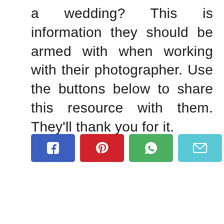a wedding? This is information they should be armed with when working with their photographer. Use the buttons below to share this resource with them. They'll thank you for it.
[Figure (infographic): A row of five social sharing buttons: Facebook (blue), Pinterest (red), WhatsApp (green), Email (light blue/cyan), and More/Plus (red).]